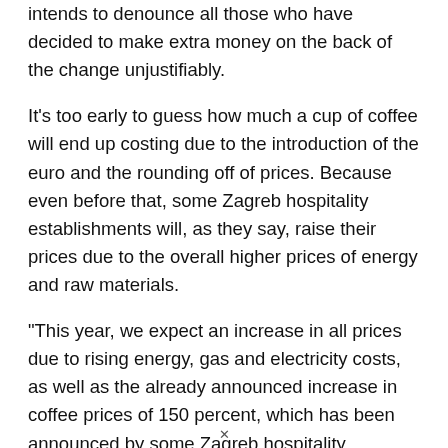intends to denounce all those who have decided to make extra money on the back of the change unjustifiably.
It's too early to guess how much a cup of coffee will end up costing due to the introduction of the euro and the rounding off of prices. Because even before that, some Zagreb hospitality establishments will, as they say, raise their prices due to the overall higher prices of energy and raw materials.
"This year, we expect an increase in all prices due to rising energy, gas and electricity costs, as well as the already announced increase in coffee prices of 150 percent, which has been announced by some Zagreb hospitality establishments. Will coffee become a luxury now? That's the question that has arisen. The introduction of the euro in Croatia will
✕